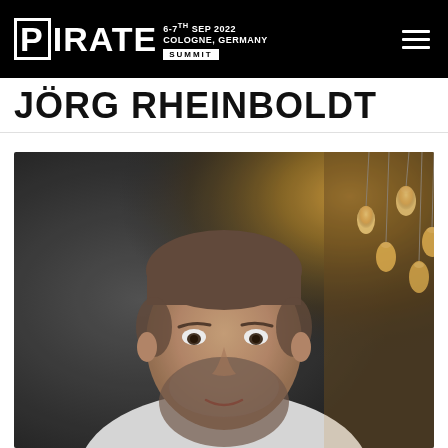PIRATE SUMMIT — 6-7TH SEP 2022 COLOGNE, GERMANY
JÖRG RHEINBOLDT
[Figure (photo): Portrait photo of Jörg Rheinboldt, a middle-aged man with short salt-and-pepper hair and a beard, wearing a white t-shirt. Background shows hanging vintage Edison light bulbs against a dark concrete wall.]